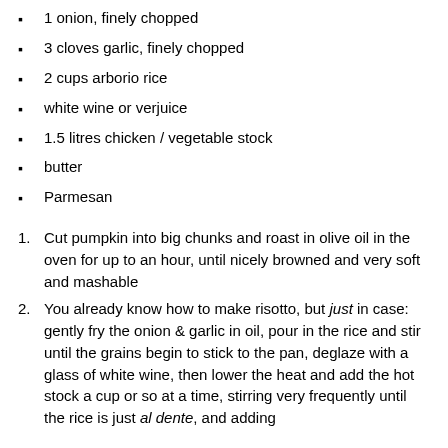1 onion, finely chopped
3 cloves garlic, finely chopped
2 cups arborio rice
white wine or verjuice
1.5 litres chicken / vegetable stock
butter
Parmesan
Cut pumpkin into big chunks and roast in olive oil in the oven for up to an hour, until nicely browned and very soft and mashable
You already know how to make risotto, but just in case: gently fry the onion & garlic in oil, pour in the rice and stir until the grains begin to stick to the pan, deglaze with a glass of white wine, then lower the heat and add the hot stock a cup or so at a time, stirring very frequently until the rice is just al dente, and adding